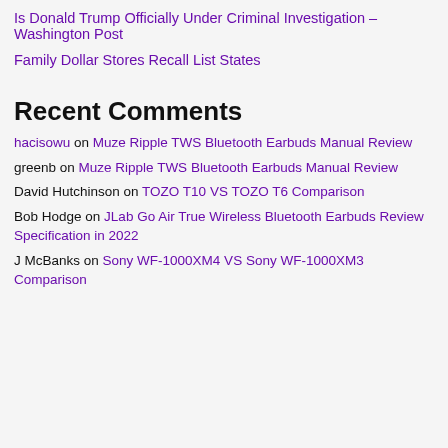Is Donald Trump Officially Under Criminal Investigation – Washington Post
Family Dollar Stores Recall List States
Recent Comments
hacisowu on Muze Ripple TWS Bluetooth Earbuds Manual Review
greenb on Muze Ripple TWS Bluetooth Earbuds Manual Review
David Hutchinson on TOZO T10 VS TOZO T6 Comparison
Bob Hodge on JLab Go Air True Wireless Bluetooth Earbuds Review Specification in 2022
J McBanks on Sony WF-1000XM4 VS Sony WF-1000XM3 Comparison